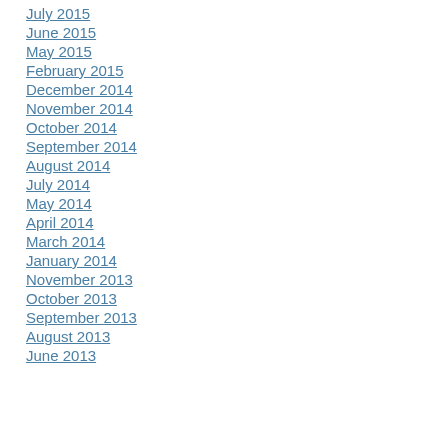July 2015
June 2015
May 2015
February 2015
December 2014
November 2014
October 2014
September 2014
August 2014
July 2014
May 2014
April 2014
March 2014
January 2014
November 2013
October 2013
September 2013
August 2013
June 2013